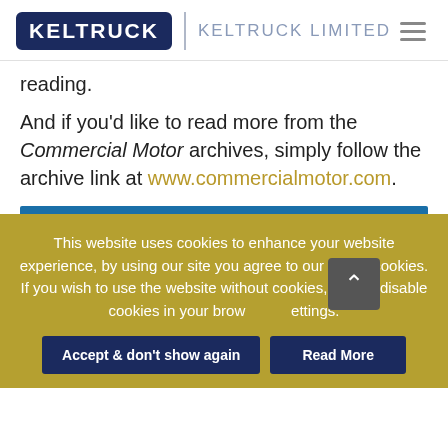[Figure (logo): Keltruck logo with dark navy border and box, next to 'KELTRUCK LIMITED' text in grey, and a hamburger menu icon on the right]
reading.
And if you'd like to read more from the Commercial Motor archives, simply follow the archive link at www.commercialmotor.com.
This website uses cookies to enhance your website experience, by using our site you agree to our use of cookies.
If you wish to use the website without cookies, please disable cookies in your browser settings.
Accept & don't show again
Read More